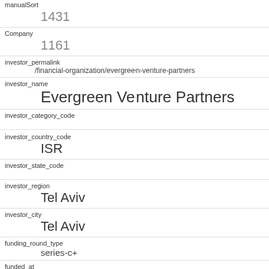| manualSort | 1431 |
| Company | 1161 |
| investor_permalink | /financial-organization/evergreen-venture-partners |
| investor_name | Evergreen Venture Partners |
| investor_category_code |  |
| investor_country_code | ISR |
| investor_state_code |  |
| investor_region | Tel Aviv |
| investor_city | Tel Aviv |
| funding_round_type | series-c+ |
| funded_at |  |